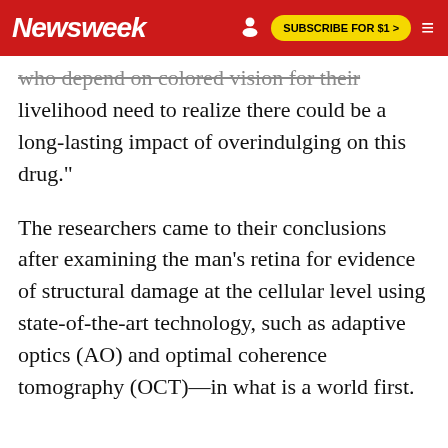Newsweek | SUBSCRIBE FOR $1 >
who depend on colored vision for their livelihood need to realize there could be a long-lasting impact of overindulging on this drug."
The researchers came to their conclusions after examining the man's retina for evidence of structural damage at the cellular level using state-of-the-art technology, such as adaptive optics (AO) and optimal coherence tomography (OCT)—in what is a world first.